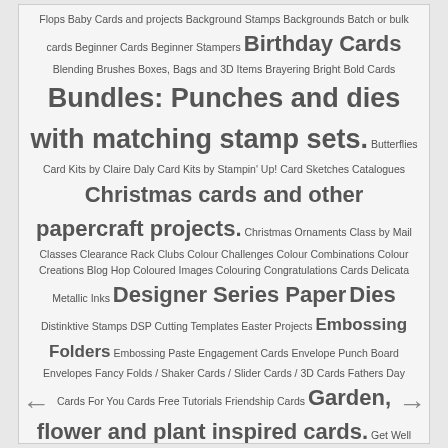Flops Baby Cards and projects Background Stamps Backgrounds Batch or bulk cards Beginner Cards Beginner Stampers Birthday Cards Blending Brushes Boxes, Bags and 3D Items Brayering Bright Bold Cards Bundles: Punches and dies with matching stamp sets. Butterflies Card Kits by Claire Daly Card Kits by Stampin' Up! Card Sketches Catalogues Christmas cards and other papercraft projects. Christmas Ornaments Class by Mail Classes Clearance Rack Clubs Colour Challenges Colour Combinations Colour Creations Blog Hop Coloured Images Colouring Congratulations Cards Delicata Metallic Inks Designer Series Paper Dies Distinktive Stamps DSP Cutting Templates Easter Projects Embossing Folders Embossing Paste Engagement Cards Envelope Punch Board Envelopes Fancy Folds / Shaker Cards / Slider Cards / 3D Cards Fathers Day Cards For You Cards Free Tutorials Friendship Cards Garden, flower and plant inspired cards. Get Well Cards Gift Boxes Gift Card Holder Gift Vouchers Gift with Purchase Grand Vacations / Incentive Trips Grunge Guest Bloggers Handmade Gifts Heart of Christmas 2017 Heart of Christmas 2018 Heart of Christmas 2019 Heart of Christmas 2021 Heat Embosed Cards Hello Cards Host Code Incentive Trips InColours Ink Blending Ink Techniques Join Stampin Up Just Because Cards Kids Cards Kits Laser Cut Paper Limited Time Release Masculine Cards and Projects Me, home, family Memories and M Card Packs Memory Keeping Mini Albums and Journals Miss You Cards Monochromatic Cards Monthly Host Codes Monthly Pack of Pretties